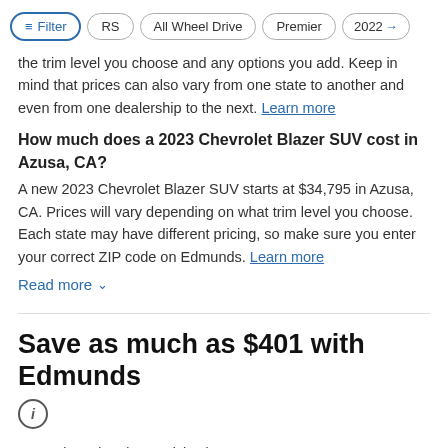Filter | RS | All Wheel Drive | Premier | 2022+
the trim level you choose and any options you add. Keep in mind that prices can also vary from one state to another and even from one dealership to the next. Learn more
How much does a 2023 Chevrolet Blazer SUV cost in Azusa, CA?
A new 2023 Chevrolet Blazer SUV starts at $34,795 in Azusa, CA. Prices will vary depending on what trim level you choose. Each state may have different pricing, so make sure you enter your correct ZIP code on Edmunds. Learn more
Read more ∨
Save as much as $401 with Edmunds
ⓘ
2023 Chevrolet Blazer pricing in Azusa, CA 91702…